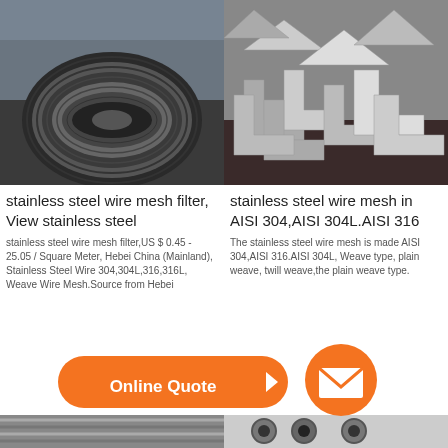[Figure (photo): Large steel coil / roll of steel strip in an industrial setting, dark grey metallic surface]
[Figure (photo): Stainless steel angle profiles / C-channel and angle sections stacked in a pile, silver metallic]
stainless steel wire mesh filter, View stainless steel
stainless steel wire mesh filter,US $ 0.45 - 25.05 / Square Meter, Hebei China (Mainland), Stainless Steel Wire 304,304L,316,316L, Weave Wire Mesh.Source from Hebei
stainless steel wire mesh in AISI 304,AISI 304L.AISI 316
The stainless steel wire mesh is made AISI 304,AISI 316.AISI 304L, Weave type, plain weave, twill weave,the plain weave type.
[Figure (photo): Orange pill-shaped Online Quote button with chevron arrow]
[Figure (photo): Orange circle email button with envelope icon]
[Figure (photo): Steel rods / bars bundled together, silver metallic, partially visible at bottom]
[Figure (photo): Black steel wire coils on a spool, partially visible at bottom right]